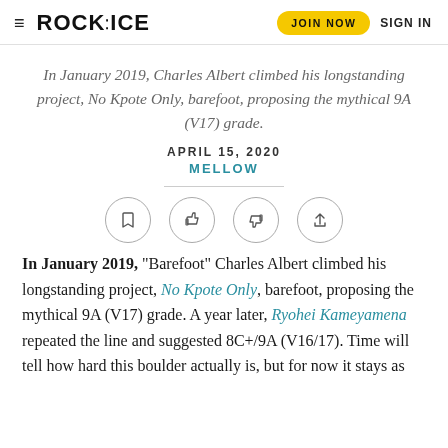ROCK ICE | JOIN NOW | SIGN IN
In January 2019, Charles Albert climbed his longstanding project, No Kpote Only, barefoot, proposing the mythical 9A (V17) grade.
APRIL 15, 2020
MELLOW
[Figure (other): Row of four circular icon buttons: bookmark, thumbs up, thumbs down, share]
In January 2019, “Barefoot” Charles Albert climbed his longstanding project, No Kpote Only, barefoot, proposing the mythical 9A (V17) grade. A year later, Ryohei Kameyamena repeated the line and suggested 8C+/9A (V16/17). Time will tell how hard this boulder actually is, but for now it stays as